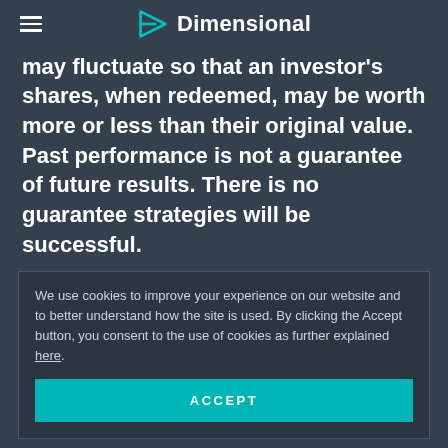Dimensional
may fluctuate so that an investor’s shares, when redeemed, may be worth more or less than their original value. Past performance is not a guarantee of future results. There is no guarantee strategies will be successful.
We use cookies to improve your experience on our website and to better understand how the site is used. By clicking the Accept button, you consent to the use of cookies as further explained here.
ACCEPT
more than one language.